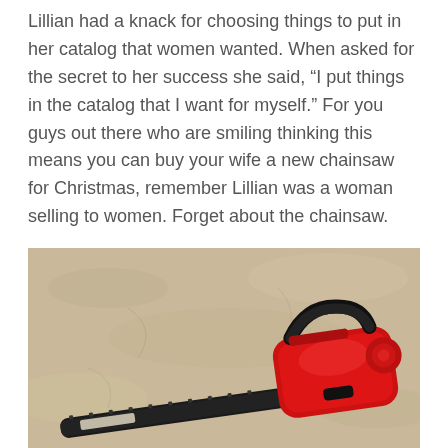Lillian had a knack for choosing things to put in her catalog that women wanted. When asked for the secret to her success she said, “I put things in the catalog that I want for myself.” For you guys out there who are smiling thinking this means you can buy your wife a new chainsaw for Christmas, remember Lillian was a woman selling to women. Forget about the chainsaw.
[Figure (photo): A red chainsaw lying on sandy/gravelly ground, photographed from above at an angle.]